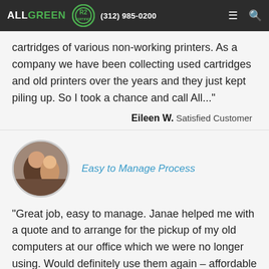ALL GREEN | R2 | (312) 985-0200
cartridges of various non-working printers. As a company we have been collecting used cartridges and old printers over the years and they just kept piling up. So I took a chance and call All..."
Eileen W. Satisfied Customer
[Figure (photo): Circular profile photo of two people smiling together indoors]
Easy to Manage Process
"Great job, easy to manage. Janae helped me with a quote and to arrange for the pickup of my old computers at our office which we were no longer using. Would definitely use them again – affordable and professional."
Matt A. Loyal Customer